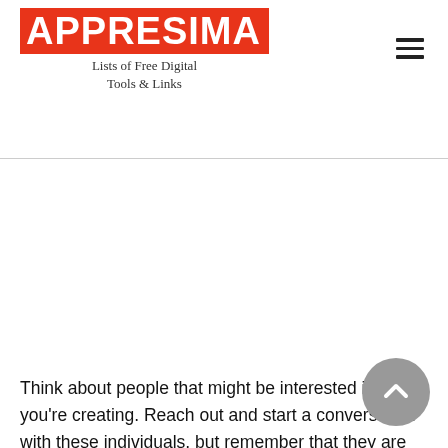APPresima — Lists of Free Digital Tools & Links
Think about people that might be interested in what you're creating. Reach out and start a conversation with these individuals, but remember that they are people–they aren't just wallets. If you happen to know an influencer that would be willing to help you out, all the